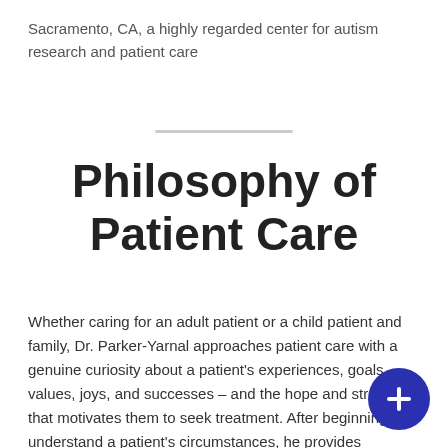Sacramento, CA, a highly regarded center for autism research and patient care
Philosophy of Patient Care
Whether caring for an adult patient or a child patient and family, Dr. Parker-Yarnal approaches patient care with a genuine curiosity about a patient's experiences, goals, values, joys, and successes – and the hope and struggle that motivates them to seek treatment. After beginning to understand a patient's circumstances, he provides education on symptoms, diagnosis, and treatment so they understand his perspective of care for all of his patients and / or their families. He draws on mutual understanding to formulate a plan that respects a